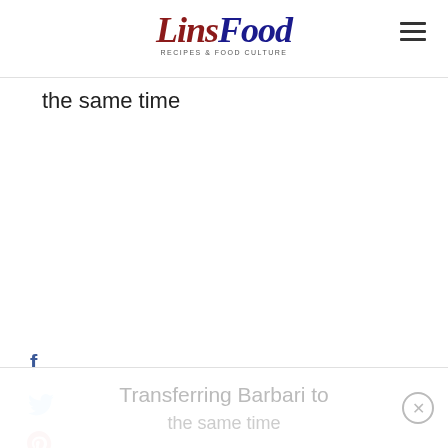LinsFood — Recipes & Food Culture
the same time
Facebook share icon
Twitter share icon
Pinterest share icon
Yummly share icon
Transferring Barbari to the same time